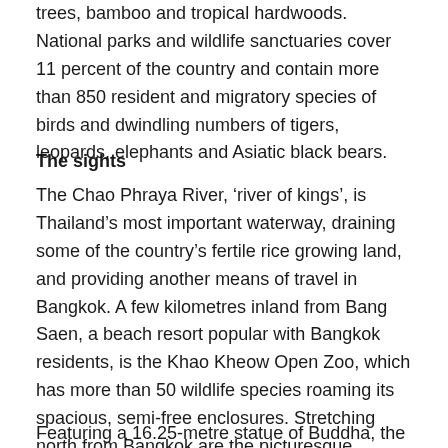trees, bamboo and tropical hardwoods. National parks and wildlife sanctuaries cover 11 percent of the country and contain more than 850 resident and migratory species of birds and dwindling numbers of tigers, leopards, elephants and Asiatic black bears.
The sights
The Chao Phraya River, ‘river of kings’, is Thailand’s most important waterway, draining some of the country’s fertile rice growing land, and providing another means of travel in Bangkok. A few kilometres inland from Bang Saen, a beach resort popular with Bangkok residents, is the Khao Kheow Open Zoo, which has more than 50 wildlife species roaming its spacious, semi-free enclosures. Stretching north from Bangkok are the picturesque Central Plains with their checkered patterns of green rice paddies. In the heart of this region is Ayutthaya, the nation’s second capital. Buddhamanthon, a Buddhist park, lies on the western edge of Bangkok.
Featuring a 16.25-metre statue of Buddha, the park